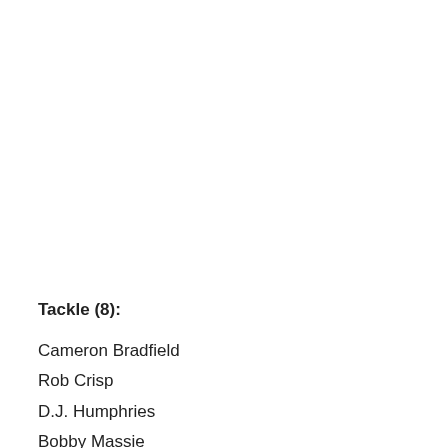Tackle (8):
Cameron Bradfield
Rob Crisp
D.J. Humphries
Bobby Massie